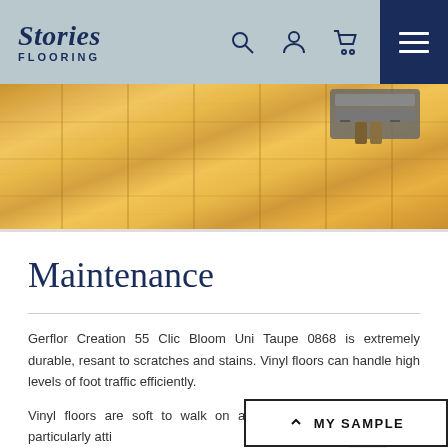Stories FLOORING
[Figure (photo): Close-up photo of light oak/blonde wood vinyl flooring planks with a cleaning or installation tool visible in the upper right corner.]
Maintenance
Gerflor Creation 55 Clic Bloom Uni Taupe 0868 is extremely durable, resant to scratches and stains. Vinyl floors can handle high levels of foot traffic efficiently.
Vinyl floors are soft to walk on and are features make them particularly atti